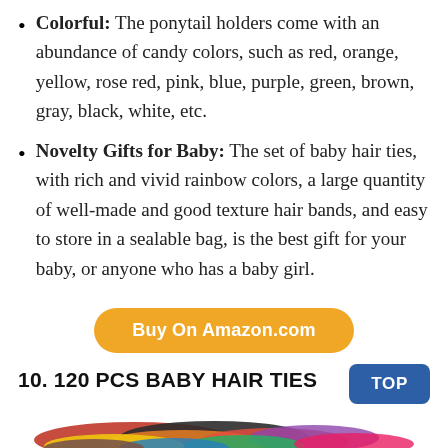Colorful: The ponytail holders come with an abundance of candy colors, such as red, orange, yellow, rose red, pink, blue, purple, green, brown, gray, black, white, etc.
Novelty Gifts for Baby: The set of baby hair ties, with rich and vivid rainbow colors, a large quantity of well-made and good texture hair bands, and easy to store in a sealable bag, is the best gift for your baby, or anyone who has a baby girl.
[Figure (other): Orange rounded rectangle button with white bold text reading 'Buy On Amazon.com']
10. 120 PCS BABY HAIR TIES
[Figure (other): Blue rounded square button with white bold text reading 'TOP']
[Figure (photo): Photo of colorful baby hair ties/ponytail holders in a pile, showing various colors including yellow, red, brown, black, orange, blue, and pink.]